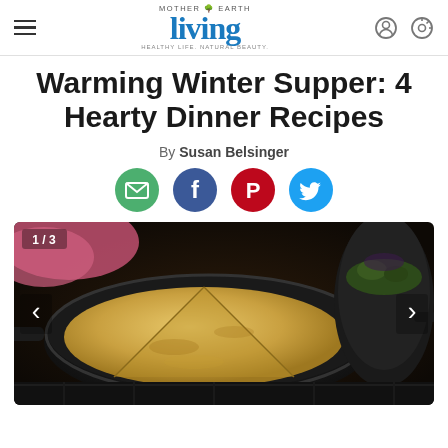Mother Earth Living — navigation header with hamburger menu, logo, user icon, and search icon
Warming Winter Supper: 4 Hearty Dinner Recipes
By Susan Belsinger
[Figure (other): Social sharing buttons: email (green), Facebook (blue), Pinterest (red), Twitter (blue)]
[Figure (photo): Photo of a cast iron skillet with a golden cornbread, partially sliced, sitting on a stovetop. A second dark pot with greens is visible in the background. A pink cloth is at the top-left. Image counter shows 1/3 with left and right navigation arrows.]